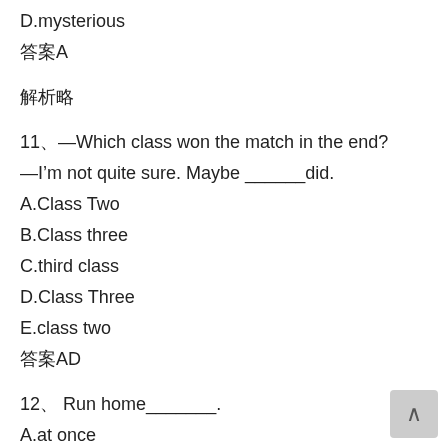D.mysterious
答案A
解析略
11、—Which class won the match in the end?
—I'm not quite sure. Maybe ______did.
A.Class Two
B.Class three
C.third class
D.Class Three
E.class two
答案AD
12、Run home_______.
A.at once
B.just now